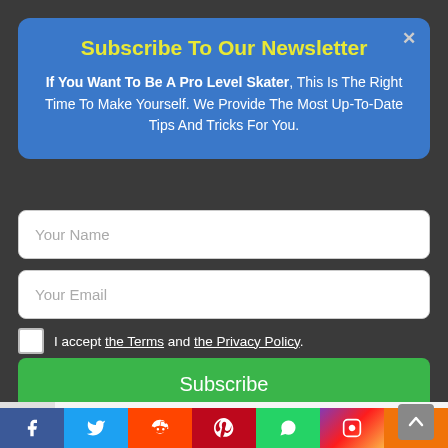Subscribe To Our Newsletter
If You Want To Be A Pro Level Skater, This Is The Right Time To Make Yourself. We Provide The Most Up-To-Date Tips And Tricks For You.
Your Name
Your Email
I accept the Terms and the Privacy Policy.
Subscribe
[Figure (photo): Photo of roller skates, black boot with red and white wheels]
⚡ by Convertful
f  Twitter  Reddit  Pinterest  WhatsApp  Instagram  Share